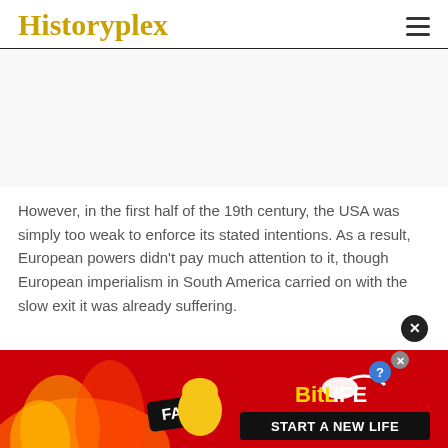Historyplex
However, in the first half of the 19th century, the USA was simply too weak to enforce its stated intentions. As a result, European powers didn't pay much attention to it, though European imperialism in South America carried on with the slow exit it was already suffering.
[Figure (illustration): Advertisement banner for BitLife game with fire, cartoon character, FAIL badge on red background with 'START A NEW LIFE' tagline]